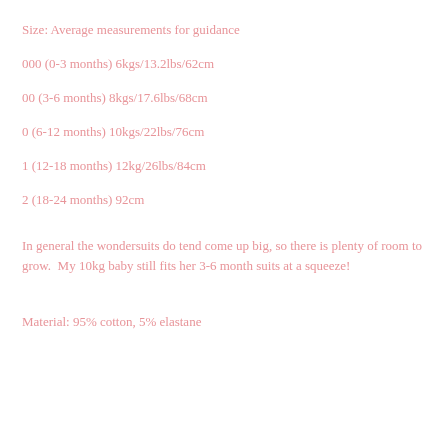Size: Average measurements for guidance
000 (0-3 months) 6kgs/13.2lbs/62cm
00 (3-6 months) 8kgs/17.6lbs/68cm
0 (6-12 months) 10kgs/22lbs/76cm
1 (12-18 months) 12kg/26lbs/84cm
2 (18-24 months) 92cm
In general the wondersuits do tend come up big, so there is plenty of room to grow.  My 10kg baby still fits her 3-6 month suits at a squeeze!
Material: 95% cotton, 5% elastane